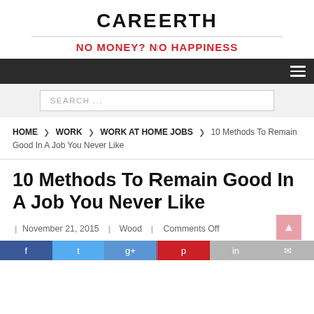CAREERTH
NO MONEY? NO HAPPINESS
SEARCH ...
HOME  ❯  WORK  ❯  WORK AT HOME JOBS  ❯  10 Methods To Remain Good In A Job You Never Like
10 Methods To Remain Good In A Job You Never Like
November 21, 2015   Wood   Comments Off